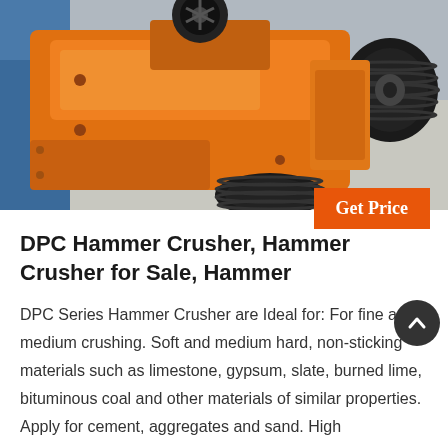[Figure (photo): Orange industrial DPC hammer crusher machine with black pulley/belt drive visible, photographed in a workshop or factory setting. The machine is painted bright orange with heavy metal components.]
Get Price
DPC Hammer Crusher, Hammer Crusher for Sale, Hammer
DPC Series Hammer Crusher are Ideal for: For fine and medium crushing. Soft and medium hard, non-sticking materials such as limestone, gypsum, slate, burned lime, bituminous coal and other materials of similar properties. Apply for cement, aggregates and sand. High Performance - Low Operating Costs